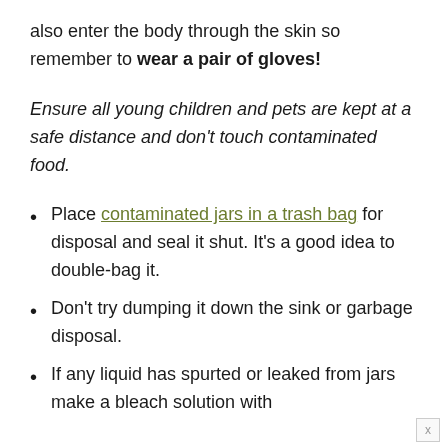also enter the body through the skin so remember to wear a pair of gloves!
Ensure all young children and pets are kept at a safe distance and don't touch contaminated food.
Place contaminated jars in a trash bag for disposal and seal it shut. It's a good idea to double-bag it.
Don't try dumping it down the sink or garbage disposal.
If any liquid has spurted or leaked from jars make a bleach solution with